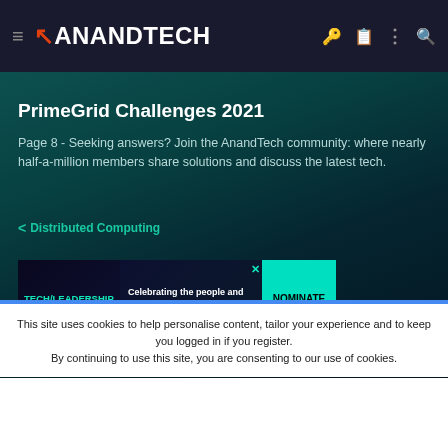AnandTech
PrimeGrid Challenges 2021
Page 8 - Seeking answers? Join the AnandTech community: where nearly half-a-million members share solutions and discuss the latest tech.
< Distributed Computing
[Figure (other): Tech Leadership Awards 2022 advertisement - Celebrating the people and products shaping the future of media technology. NOMINATE TODAY button.]
This site uses cookies to help personalise content, tailor your experience and to keep you logged in if you register. By continuing to use this site, you are consenting to our use of cookies.